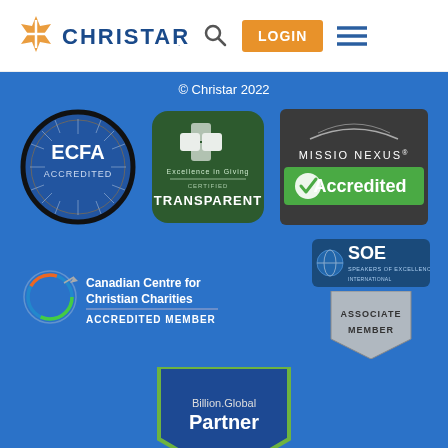[Figure (logo): Christar logo with orange X graphic and blue CHRISTAR text, search icon, orange LOGIN button, hamburger menu icon]
© Christar 2022
[Figure (logo): ECFA Accredited circular badge with blue background]
[Figure (logo): Excellence in Giving Certified TRANSPARENT dark green badge with cube icons]
[Figure (logo): Missio Nexus Accredited badge with checkmark on green ribbon]
[Figure (logo): Canadian Centre for Christian Charities Accredited Member badge with circular globe icon]
[Figure (logo): SOE Speakers of Excellence Associate Member badge]
[Figure (logo): Billion.Global Partner shield badge with green border]